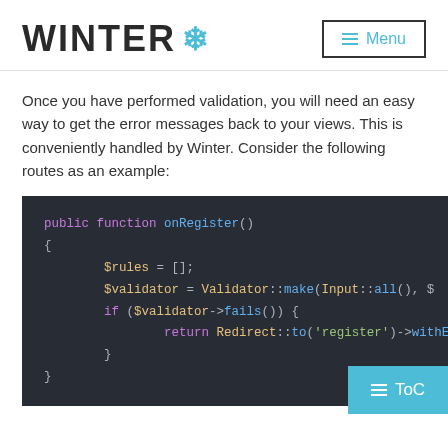WINTER ❄ Menu
Once you have performed validation, you will need an easy way to get the error messages back to your views. This is conveniently handled by Winter. Consider the following routes as an example:
[Figure (screenshot): Code block showing PHP function onRegister() with $rules = []; $validator = Validator::make(Input::all(), $rules); if ($validator->fails()) { return Redirect::to('register')->withErrors($validator); }]